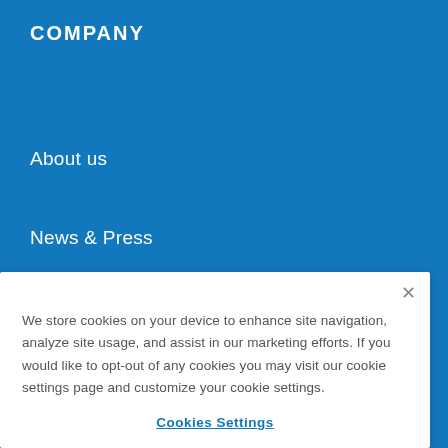COMPANY
About us
News & Press
Events
Contact Us
Support
We store cookies on your device to enhance site navigation, analyze site usage, and assist in our marketing efforts. If you would like to opt-out of any cookies you may visit our cookie settings page and customize your cookie settings.
Cookies Settings